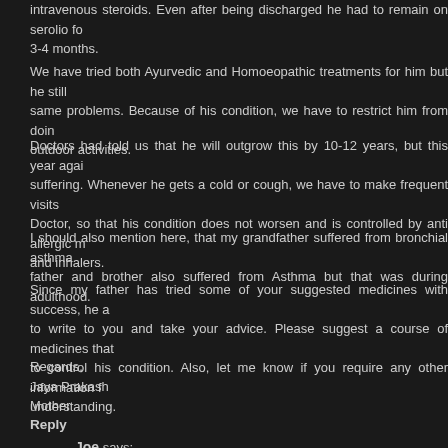intravenous steroids. Even after being discharged he had to remain on serolio for 3-4 months.
We have tried both Ayurvedic and Homoeopathic treatments for him but he still same problems. Because of his condition, we have to restrict him from doing outdoor activities.
Doctors had told us that he will outgrow this by 10-12 years, but this year again suffering. Whenever he gets a cold or cough, we have to make frequent visits Doctor, so that his condition does not worsen and is controlled by anti allergic me and inhalers.
I should also mention here, that my grandfather suffered from bronchial asthma father and brother also suffered from Asthma but that was during adulthood.
Since my father has tried some of your suggested medicines with success, he as to write to you and take your advice. Please suggest a course of medicines that c to control his condition. Also, let me know if you require any other information fo understanding.
Regards,
Jaya Prakash
Mother
Reply
Joe says:
December 24, 2016 at 10:20 PM
I am indeed very concerned to learn that your son's Asthma has not been c physicians both Homeopathic and Allopathic whom you consulted during the p